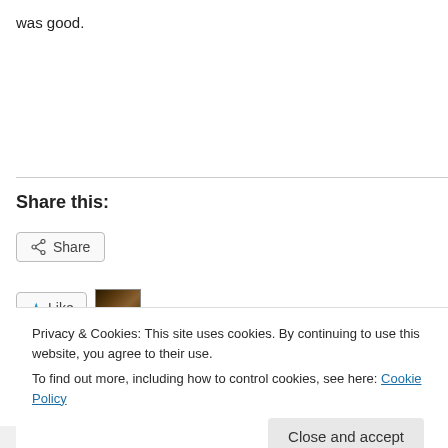was good.
Share this:
[Figure (other): Share button with share icon]
[Figure (other): Like button with blue star icon and thumbnail image]
Privacy & Cookies: This site uses cookies. By continuing to use this website, you agree to their use.
To find out more, including how to control cookies, see here: Cookie Policy
Close and accept